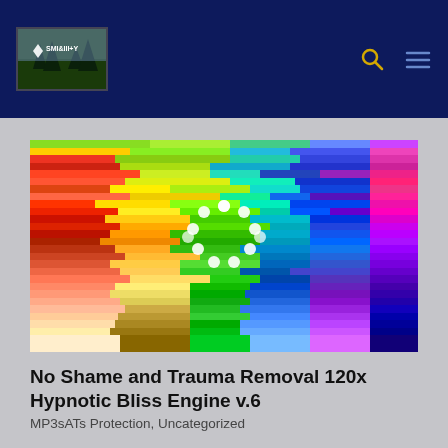SMI&III+Y
[Figure (illustration): A colorful glitch-art style horizontal bars image with rainbow colors (red, yellow, green, blue, purple, pink) and a white dotted circle in the center, resembling a loading spinner or hypnotic visual]
No Shame and Trauma Removal 120x Hypnotic Bliss Engine v.6
MP3sATs Protection, Uncategorized